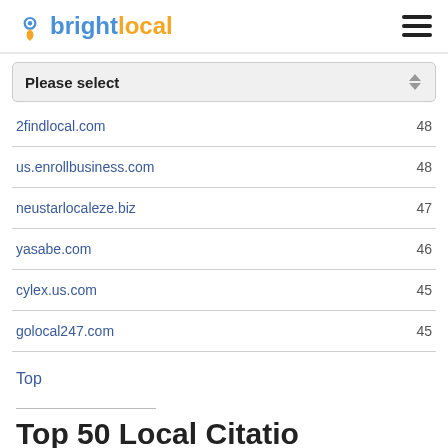brightlocal
| Domain | Score |
| --- | --- |
| 2findlocal.com | 48 |
| us.enrollbusiness.com | 48 |
| neustarlocaleze.biz | 47 |
| yasabe.com | 46 |
| cylex.us.com | 45 |
| golocal247.com | 45 |
Top
Top 50 Local Citation...